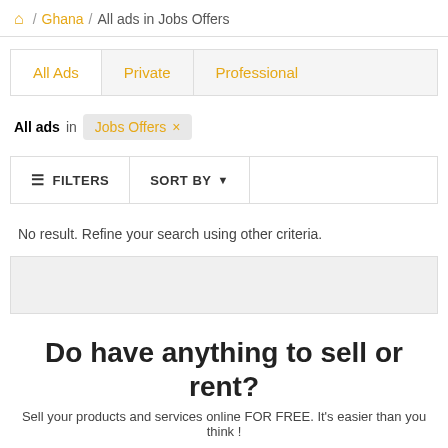🏠 / Ghana / All ads in Jobs Offers
All Ads | Private | Professional
All ads in Jobs Offers ×
≡ FILTERS   SORT BY ▾
No result. Refine your search using other criteria.
Do have anything to sell or rent?
Sell your products and services online FOR FREE. It's easier than you think !